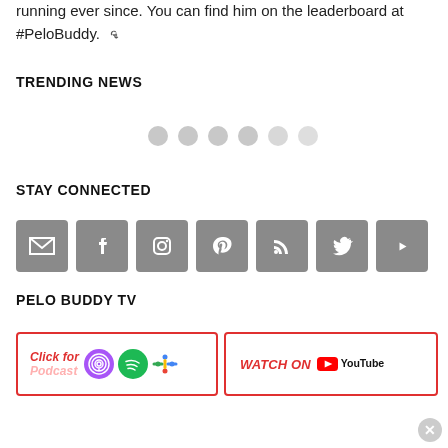running ever since. You can find him on the leaderboard at #PeloBuddy.
TRENDING NEWS
[Figure (other): Six gray pagination dots in a row]
STAY CONNECTED
[Figure (other): Seven social media icon buttons (email, Facebook, Instagram, Pinterest, RSS, Twitter, YouTube) with gray square backgrounds]
PELO BUDDY TV
[Figure (other): Podcast button with red border saying Click for Podcast with Apple Podcasts, Spotify, and Google Podcasts icons]
[Figure (other): Watch On YouTube button with red border and YouTube logo]